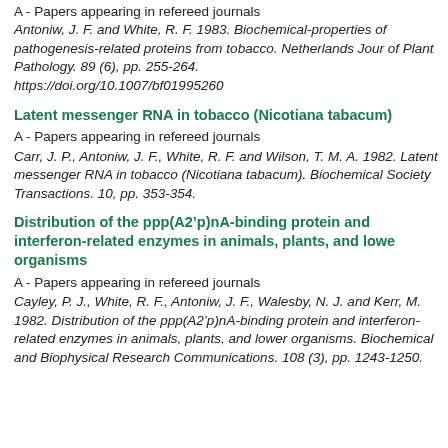A - Papers appearing in refereed journals
Antoniw, J. F. and White, R. F. 1983. Biochemical-properties of pathogenesis-related proteins from tobacco. Netherlands Journal of Plant Pathology. 89 (6), pp. 255-264. https://doi.org/10.1007/bf01995260
Latent messenger RNA in tobacco (Nicotiana tabacum)
A - Papers appearing in refereed journals
Carr, J. P., Antoniw, J. F., White, R. F. and Wilson, T. M. A. 1982. Latent messenger RNA in tobacco (Nicotiana tabacum). Biochemical Society Transactions. 10, pp. 353-354.
Distribution of the ppp(A2’p)nA-binding protein and interferon-related enzymes in animals, plants, and lower organisms
A - Papers appearing in refereed journals
Cayley, P. J., White, R. F., Antoniw, J. F., Walesby, N. J. and Kerr, M. 1982. Distribution of the ppp(A2’p)nA-binding protein and interferon-related enzymes in animals, plants, and lower organisms. Biochemical and Biophysical Research Communications. 108 (3), pp. 1243-1250.